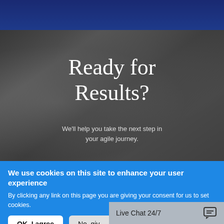[Figure (screenshot): Dark navy blue navigation bar at top of webpage]
Ready for Results?
We'll help you take the next step in your agile journey.
We use cookies on this site to enhance your user experience
By clicking any link on this page you are giving your consent for us to set cookies.
OK, I agree
No, giv
Live Chat 24/7